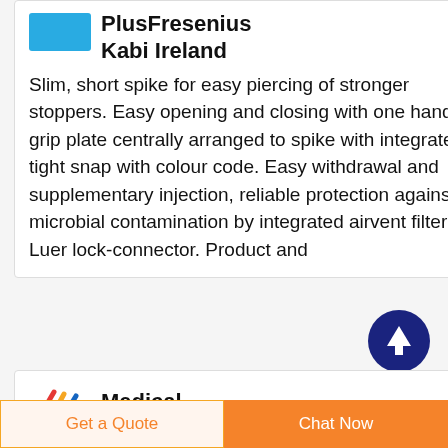PlusFresenius Kabi Ireland
Slim, short spike for easy piercing of stronger stoppers. Easy opening and closing with one hand by grip plate centrally arranged to spike with integrated, tight snap with colour code. Easy withdrawal and supplementary injection, reliable protection against microbial contamination by integrated airvent filter. Luer lock-connector. Product and
[Figure (logo): Blue logo placeholder for PlusFresenius Kabi Ireland]
[Figure (other): Dark blue circle with white upward arrow icon (scroll to top button)]
[Figure (logo): Colorful pen/stylus logo for Medical section]
Medical
Get a Quote
Chat Now